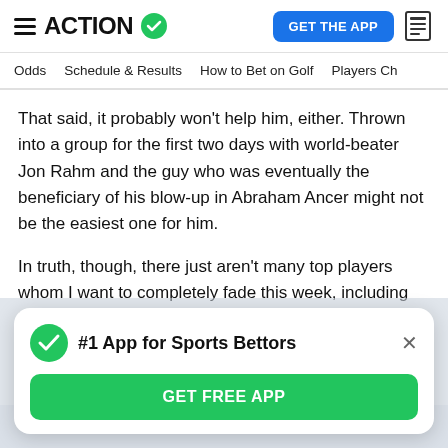ACTION
That said, it probably won't help him, either. Thrown into a group for the first two days with world-beater Jon Rahm and the guy who was eventually the beneficiary of his blow-up in Abraham Ancer might not be the easiest one for him.
In truth, though, there just aren't many top players whom I want to completely fade this week, including English himself, so I'm simply taking a shot on this narrative.
How would you rate this article?
[Figure (infographic): App promotion popup: #1 App for Sports Bettors with GET FREE APP button]
#1 App for Sports Bettors
GET FREE APP